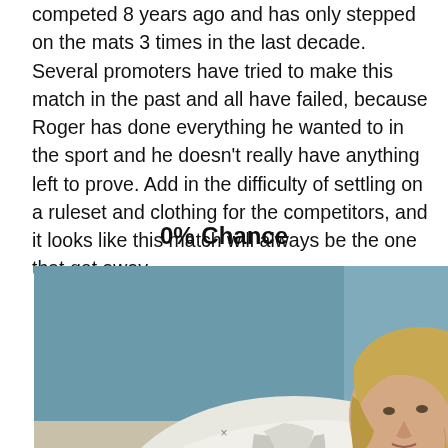competed 8 years ago and has only stepped on the mats 3 times in the last decade. Several promoters have tried to make this match in the past and all have failed, because Roger has done everything he wanted to in the sport and he doesn't really have anything left to prove. Add in the difficulty of settling on a ruleset and clothing for the competitors, and it looks like this match will always be the one that got away.
0% Chance
[Figure (photo): A female BJJ/judo athlete in a white gi leaning forward on the mat, with blond hair, during a match or training session. Blue mats visible in the background.]
×